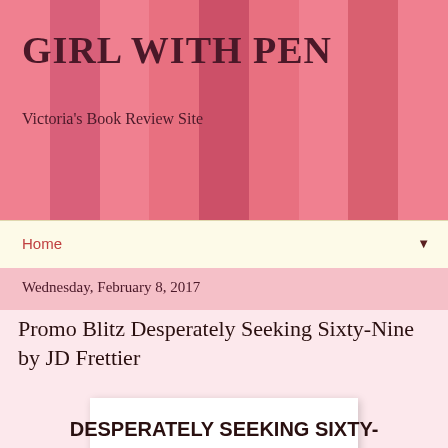GIRL WITH PEN
Victoria's Book Review Site
Home
Wednesday, February 8, 2017
Promo Blitz Desperately Seeking Sixty-Nine by JD Frettier
[Figure (photo): Book cover placeholder - white rectangle]
DESPERATELY SEEKING SIXTY-NINE